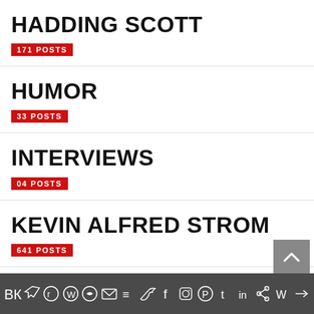HADDING SCOTT
171 POSTS
HUMOR
33 POSTS
INTERVIEWS
04 POSTS
KEVIN ALFRED STROM
641 POSTS
POETRY
Social share icons bar